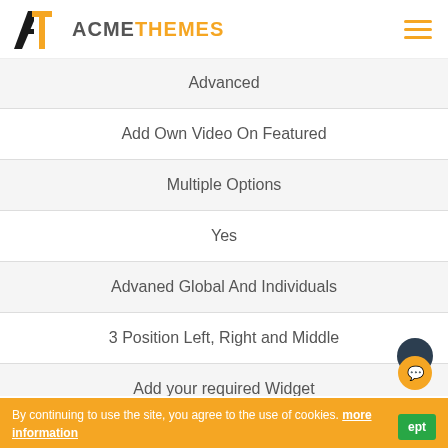[Figure (logo): AcmeThemes logo with stylized A and T mark in black and orange, followed by ACMETHEMES text]
Advanced
Add Own Video On Featured
Multiple Options
Yes
Advaned Global And Individuals
3 Position Left, Right and Middle
Add your required Widget
3 Options
Yes
By continuing to use the site, you agree to the use of cookies. more information